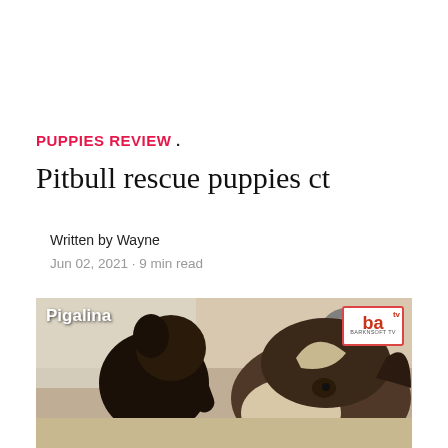PUPPIES REVIEW .
Pitbull rescue puppies ct
Written by Wayne
Jun 02, 2021 · 9 min read
[Figure (photo): A small dark puppy nuzzling or climbing on an adult black-and-white Pitbull dog, with the text 'Pigalina' in white in the upper-left corner and a 'ba TV' logo in the upper-right corner. Scene appears to be indoors on a light floor.]